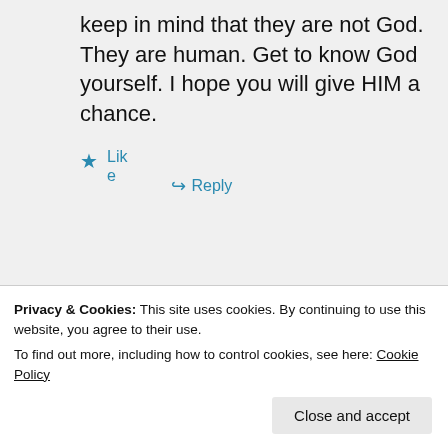keep in mind that they are not God. They are human. Get to know God yourself. I hope you will give HIM a chance.
★ Like
↪ Reply
[Figure (screenshot): Green plugin advertisement banner showing 'plugin' title and 'Back up your site' button]
Privacy & Cookies: This site uses cookies. By continuing to use this website, you agree to their use. To find out more, including how to control cookies, see here: Cookie Policy
Close and accept